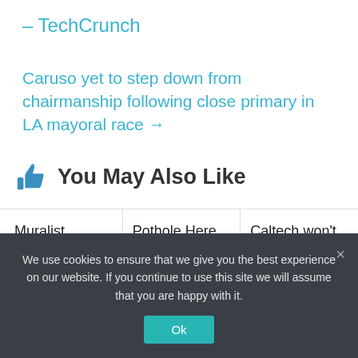– TechCrunch
Caruso yet to step down from chairmanship following close primary in LA mayoral race →
👍 You May Also Like
Muralist working with internet
Pothole Here, Bump There: Roads
Caltech won't consider SAT and ACT
We use cookies to ensure that we give you the best experience on our website. If you continue to use this site we will assume that you are happy with it.